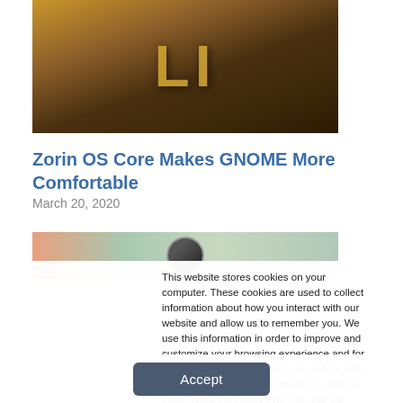[Figure (photo): Wooden letters spelling out text on a dark wooden background, with gold/yellow colored block letters visible]
Zorin OS Core Makes GNOME More Comfortable
March 20, 2020
[Figure (photo): Partial image showing a colorful banner with orange, green and teal tones, with a circular dark element in the center]
This website stores cookies on your computer. These cookies are used to collect information about how you interact with our website and allow us to remember you. We use this information in order to improve and customize your browsing experience and for analytics and metrics about our visitors both on this website and other media. To find out more about the cookies we use, see our Privacy Policy. California residents have the right to direct us not to sell their personal information to third parties by filing an Opt-Out Request: Do Not Sell My Personal Info.
Accept